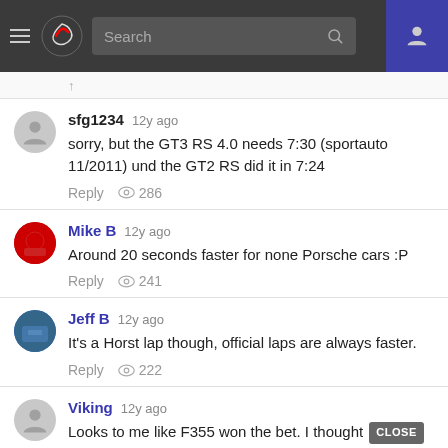Navigation bar with hamburger menu, logo, search bar, and user icon
sfg1234 12y ago — sorry, but the GT3 RS 4.0 needs 7:30 (sportauto 11/2011) und the GT2 RS did it in 7:24 — Reply 286 views
Mike B 12y ago — Around 20 seconds faster for none Porsche cars :P — Reply 241 views
Jeff B 12y ago — It's a Horst lap though, official laps are always faster. — Reply 222 views
Viking 12y ago — Looks to me like F355 won the bet. I thought [CLOSE] get a